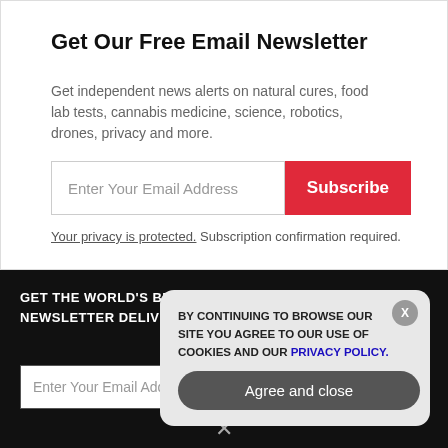Get Our Free Email Newsletter
Get independent news alerts on natural cures, food lab tests, cannabis medicine, science, robotics, drones, privacy and more.
Enter Your Email Address  [Subscribe]
Your privacy is protected. Subscription confirmation required.
GET THE WORLD'S BEST INDEPENDENT MEDIA NEWSLETTER DELIVERED STRAIGHT TO YOUR INBOX.
Enter Your Email Address  [SUBSCRIBE]
BY CONTINUING TO BROWSE OUR SITE YOU AGREE TO OUR USE OF COOKIES AND OUR PRIVACY POLICY.
Agree and close